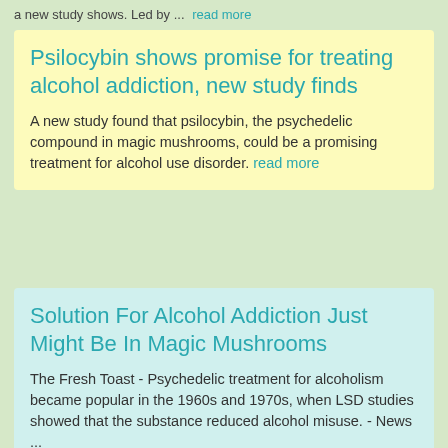a new study shows. Led by ... read more
Psilocybin shows promise for treating alcohol addiction, new study finds
A new study found that psilocybin, the psychedelic compound in magic mushrooms, could be a promising treatment for alcohol use disorder. read more
Solution For Alcohol Addiction Just Might Be In Magic Mushrooms
The Fresh Toast - Psychedelic treatment for alcoholism became popular in the 1960s and 1970s, when LSD studies showed that the substance reduced alcohol misuse. - News ... read more